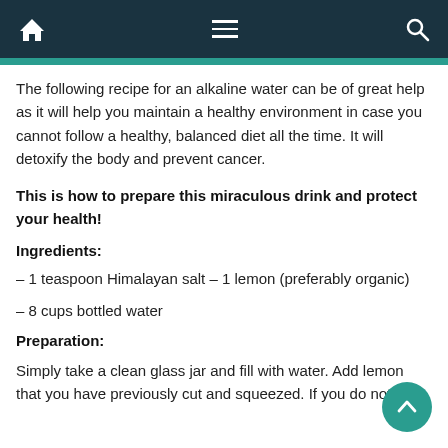Navigation bar with home, menu, and search icons
The following recipe for an alkaline water can be of great help as it will help you maintain a healthy environment in case you cannot follow a healthy, balanced diet all the time. It will detoxify the body and prevent cancer.
This is how to prepare this miraculous drink and protect your health!
Ingredients:
– 1 teaspoon Himalayan salt – 1 lemon (preferably organic)
– 8 cups bottled water
Preparation:
Simply take a clean glass jar and fill with water. Add lemon that you have previously cut and squeezed. If you do not use